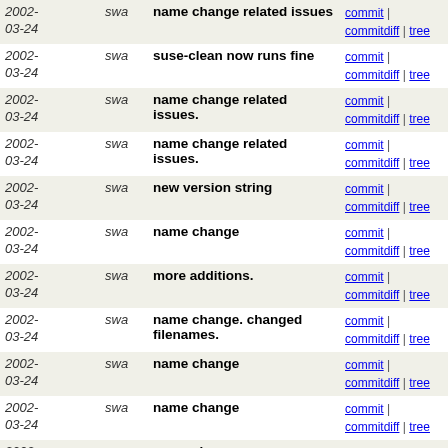| Date | Author | Message | Links |
| --- | --- | --- | --- |
| 2002-03-24 | swa | name change related issues | commit | commitdiff | tree |
| 2002-03-24 | swa | suse-clean now runs fine | commit | commitdiff | tree |
| 2002-03-24 | swa | name change related issues. | commit | commitdiff | tree |
| 2002-03-24 | swa | name change related issues. | commit | commitdiff | tree |
| 2002-03-24 | swa | new version string | commit | commitdiff | tree |
| 2002-03-24 | swa | name change | commit | commitdiff | tree |
| 2002-03-24 | swa | more additions. | commit | commitdiff | tree |
| 2002-03-24 | swa | name change. changed filenames. | commit | commitdiff | tree |
| 2002-03-24 | swa | name change | commit | commitdiff | tree |
| 2002-03-24 | swa | name change | commit | commitdiff | tree |
| 2002-03-24 | swa | name change | commit | commitdiff | tree |
| 2002-03-24 | swa | name change | commit | commitdiff | tree |
| 2002-03-23 | swa | renamed every reference to the old name with foobar | commit | commitdiff | tree |